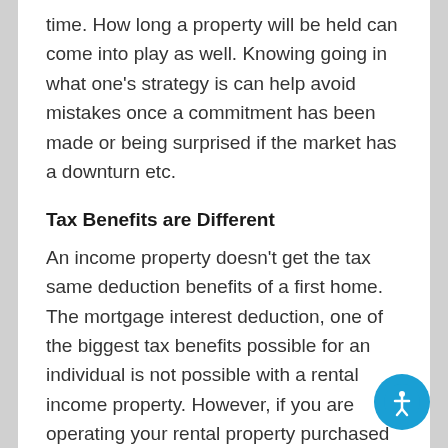time. How long a property will be held can come into play as well. Knowing going in what one's strategy is can help avoid mistakes once a commitment has been made or being surprised if the market has a downturn etc.
Tax Benefits are Different
An income property doesn't get the tax same deduction benefits of a first home. The mortgage interest deduction, one of the biggest tax benefits possible for an individual is not possible with a rental income property. However, if you are operating your rental property purchased as a business, many of the expenses of running that business can be deducted through the Schedule C form process with an income tax return. Check with a tax advisor or attorney to be sure for your